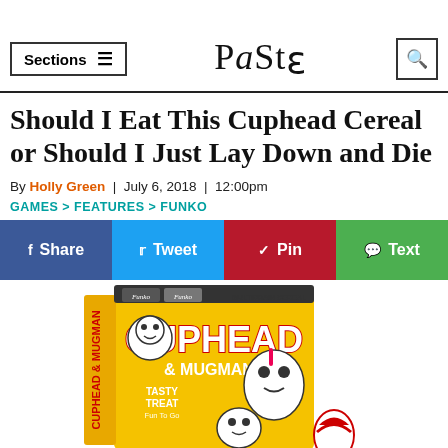Sections  |  Paste  |  [search]
Should I Eat This Cuphead Cereal or Should I Just Lay Down and Die
By Holly Green | July 6, 2018 | 12:00pm
GAMES > FEATURES > FUNKO
Share | Tweet | Pin | Text
[Figure (photo): Yellow Funko Cuphead & Mugman cereal box with cartoon characters, labeled Multigrain Cereal, Tasty Treat, Fun To Go, with Cuphead and Mugman characters on the box]